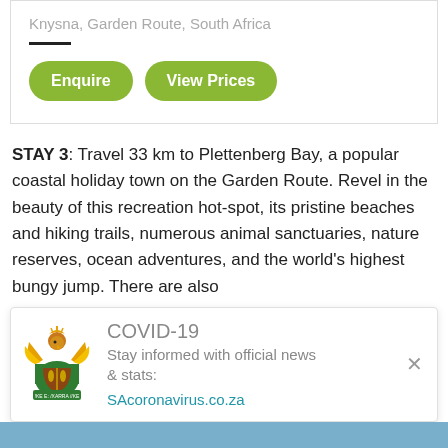Knysna, Garden Route, South Africa
STAY 3: Travel 33 km to Plettenberg Bay, a popular coastal holiday town on the Garden Route. Revel in the beauty of this recreation hot-spot, its pristine beaches and hiking trails, numerous animal sanctuaries, nature reserves, ocean adventures, and the world's highest bungy jump. There are also
[Figure (logo): South African coat of arms logo for COVID-19 banner]
COVID-19
Stay informed with official news & stats:
SAcoronavirus.co.za